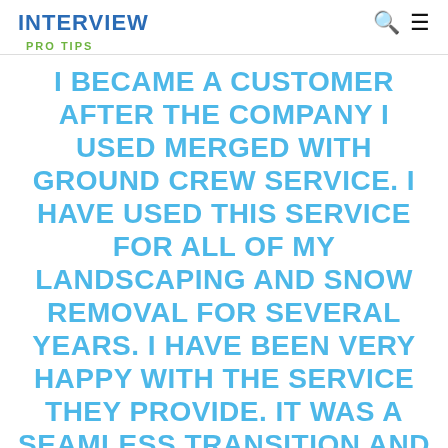INTERVIEW
PRO TIPS
I BECAME A CUSTOMER AFTER THE COMPANY I USED MERGED WITH GROUND CREW SERVICE. I HAVE USED THIS SERVICE FOR ALL OF MY LANDSCAPING AND SNOW REMOVAL FOR SEVERAL YEARS. I HAVE BEEN VERY HAPPY WITH THE SERVICE THEY PROVIDE. IT WAS A SEAMLESS TRANSITION AND THE CREW AND EVERYONE I HAVE INTERACTED WITH HAVE BEEN EXCELLENT. I WOULD HIGHLY RECOMMEND THEM.